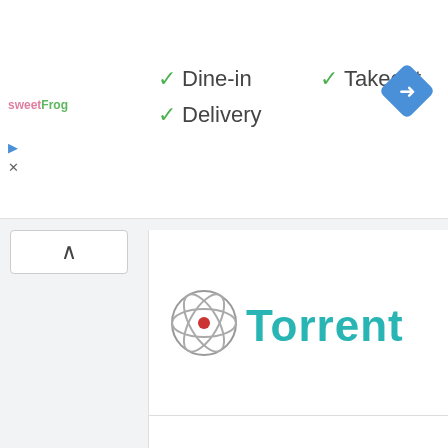[Figure (screenshot): Google Maps business info banner showing sweetFrog logo with checkmarks for Dine-in, Takeout, Delivery options, and a navigation arrow icon]
✓ Dine-in
✓ Takeout
✓ Delivery
[Figure (logo): TorrentGalaxy logo with atom graphic and teal/gold stylized text]
[Figure (logo): ProStyleX logo in blue serif text with reflection effect]
[Figure (logo): GloTorrents logo in gold/brown serif text]